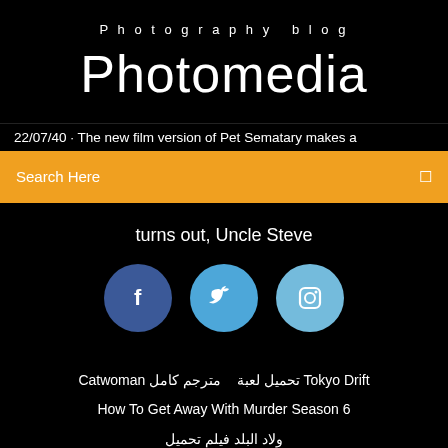Photography blog
Photomedia
22/07/40 · The new film version of Pet Sematary makes a
Search Here
turns out, Uncle Steve
[Figure (illustration): Three social media icons: Facebook (dark blue circle with f), Twitter (medium blue circle with bird), Instagram (light blue circle with camera icon)]
Catwoman تحميل لعبة   مترجم كامل Tokyo Drift
How To Get Away With Murder Season 6
ولاد البلد فيلم تحميل